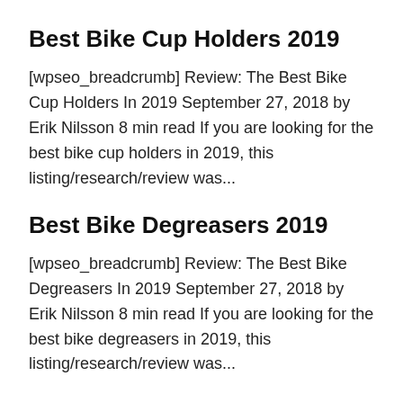Best Bike Cup Holders 2019
[wpseo_breadcrumb] Review: The Best Bike Cup Holders In 2019 September 27, 2018 by Erik Nilsson 8 min read If you are looking for the best bike cup holders in 2019, this listing/research/review was...
Best Bike Degreasers 2019
[wpseo_breadcrumb] Review: The Best Bike Degreasers In 2019 September 27, 2018 by Erik Nilsson 8 min read If you are looking for the best bike degreasers in 2019, this listing/research/review was...